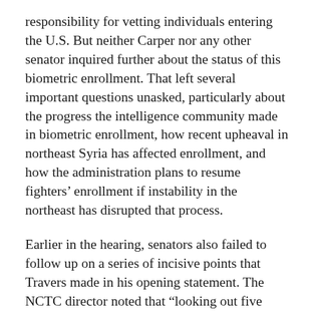responsibility for vetting individuals entering the U.S. But neither Carper nor any other senator inquired further about the status of this biometric enrollment. That left several important questions unasked, particularly about the progress the intelligence community made in biometric enrollment, how recent upheaval in northeast Syria has affected enrollment, and how the administration plans to resume fighters’ enrollment if instability in the northeast has disrupted that process.
Earlier in the hearing, senators also failed to follow up on a series of incisive points that Travers made in his opening statement. The NCTC director noted that “looking out five years, we are particularly concerned with the growing adverse impact encryption will have on our counterterrorism efforts.” The director also stressed that military and law enforcement operations alone will not eliminate terrorism. That terrorist